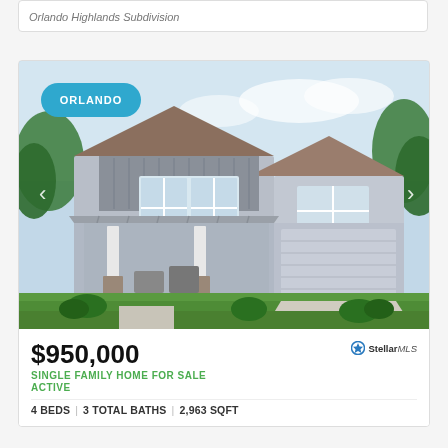Orlando Highlands Subdivision
[Figure (photo): Exterior rendering of a two-story gray craftsman-style single family home with white trim, metal roof, covered porch, and landscaping. ORLANDO badge overlay in teal top-left.]
$950,000
SINGLE FAMILY HOME FOR SALE
ACTIVE
4 BEDS | 3 TOTAL BATHS | 2,963 SQFT